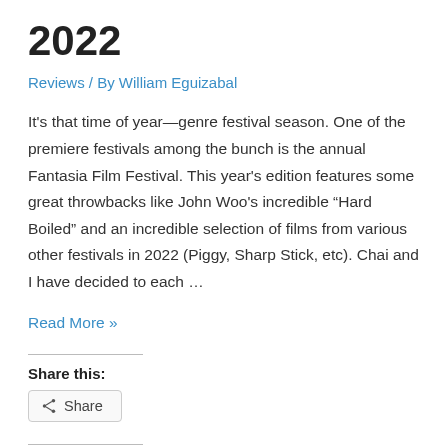2022
Reviews / By William Eguizabal
It's that time of year—genre festival season. One of the premiere festivals among the bunch is the annual Fantasia Film Festival. This year's edition features some great throwbacks like John Woo's incredible “Hard Boiled” and an incredible selection of films from various other festivals in 2022 (Piggy, Sharp Stick, etc). Chai and I have decided to each …
Read More »
Share this:
Share
Like this:
Like